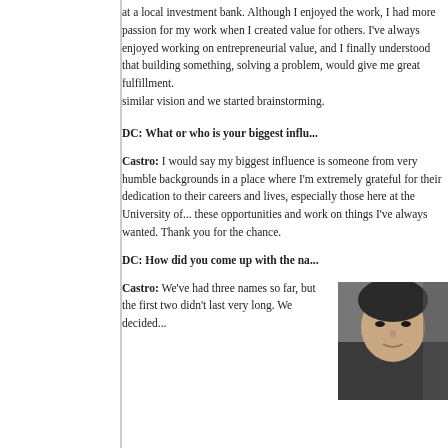at a local investment bank. Although I enjoyed the work, I had more passion for my work when I created value for others. I've always enjoyed working on entrepreneurial value, and I finally understood that building something, solving a problem, would give me great fulfillment. I found others with similar vision and we started brainstorming.
DC: What or who is your biggest influ...
Castro: I would say my biggest influences are people from very humble backgrounds in a place where I'm extremely grateful for their dedication to their careers and lives, especially those here at the University of... these opportunities and work on things I'... chance.
DC: How did you come up with the na...
Castro: We've had three names so far, but the first two didn't last very long. We decided...
[Figure (photo): Partial photo of a person, cropped, showing face/upper body against a dark background]